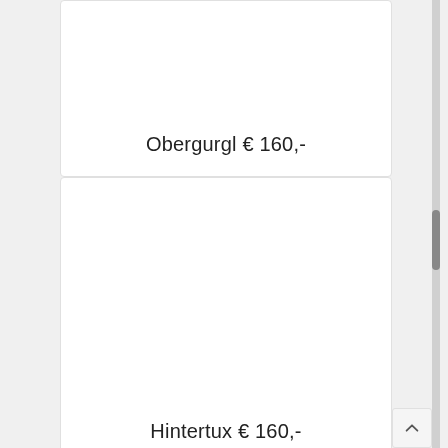Obergurgl € 160,-
Hintertux € 160,-